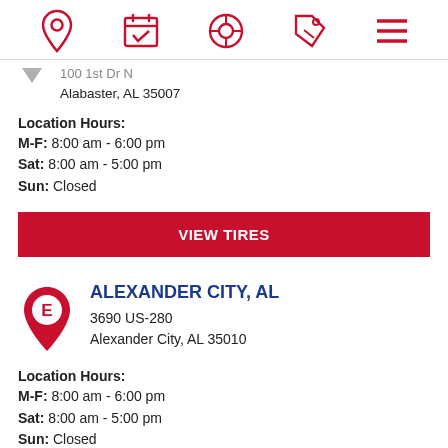Navigation bar with icons: location pin, calendar/appointment, tire, deals/percent tag, menu
100 1st Dr N, Alabaster, AL 35007
Location Hours: M-F: 8:00 am - 6:00 pm  Sat: 8:00 am - 5:00 pm  Sun: Closed
VIEW TIRES
ALEXANDER CITY, AL
3690 US-280
Alexander City, AL 35010
Location Hours: M-F: 8:00 am - 6:00 pm  Sat: 8:00 am - 5:00 pm  Sun: Closed